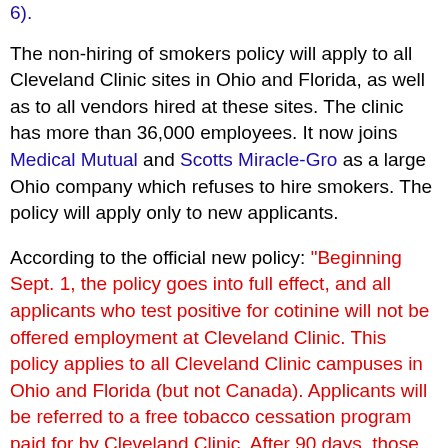6).
The non-hiring of smokers policy will apply to all Cleveland Clinic sites in Ohio and Florida, as well as to all vendors hired at these sites. The clinic has more than 36,000 employees. It now joins Medical Mutual and Scotts Miracle-Gro as a large Ohio company which refuses to hire smokers. The policy will apply only to new applicants.
According to the official new policy: "Beginning Sept. 1, the policy goes into full effect, and all applicants who test positive for cotinine will not be offered employment at Cleveland Clinic. This policy applies to all Cleveland Clinic campuses in Ohio and Florida (but not Canada). Applicants will be referred to a free tobacco cessation program paid for by Cleveland Clinic. After 90 days, those who have been successful in quitting will be encouraged to reapply."
The reason for this policy provided by Cleveland Clinic is as follows: "Cleveland Clinic has been a leader in preventative health and wellness. In 2005, we designated the entire health system smoke-free. Last fall, we supported the SmokeFreeOhio Initiative on ballots. Recently, trans fats...